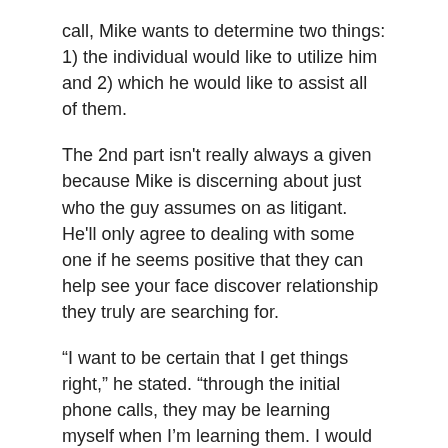call, Mike wants to determine two things: 1) the individual would like to utilize him and 2) which he would like to assist all of them.
The 2nd part isn't really always a given because Mike is discerning about just who the guy assumes on as litigant. He'll only agree to dealing with some one if he seems positive that they can help see your face discover relationship they truly are searching for.
“I want to be certain that I get things right,” he stated. “through the initial phone calls, they may be learning myself when I’m learning them. I would like that it is a good fit.”
Mike creates an excellent connection with his customers and quite often hears right back from joyfully established individuals who need to upgrade him to their resides. Through the years, Mike has actually observed